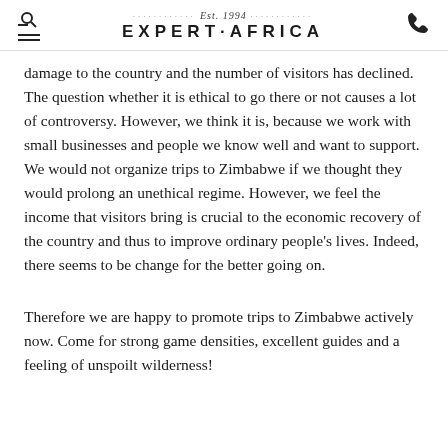Est. 1994 EXPERT·AFRICA
damage to the country and the number of visitors has declined. The question whether it is ethical to go there or not causes a lot of controversy. However, we think it is, because we work with small businesses and people we know well and want to support. We would not organize trips to Zimbabwe if we thought they would prolong an unethical regime. However, we feel the income that visitors bring is crucial to the economic recovery of the country and thus to improve ordinary people's lives. Indeed, there seems to be change for the better going on.
Therefore we are happy to promote trips to Zimbabwe actively now. Come for strong game densities, excellent guides and a feeling of unspoilt wilderness!